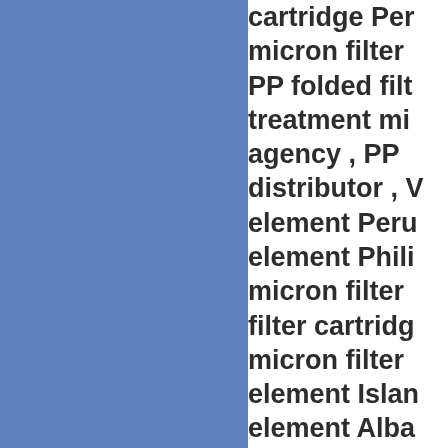[Figure (other): Solid blue rectangular panel occupying the left half of the page]
cartridge Per micron filter PP folded filt treatment mi agency , PP distributor , V element Peru element Phili micron filter filter cartridg micron filter element Islan element Alba Algeria , Wat American , P Water treatm PP pleated fi treatment mi folded filter e